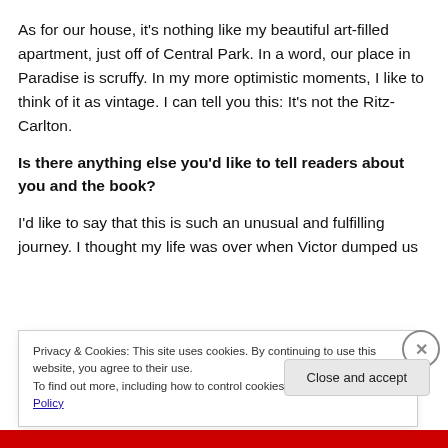As for our house, it's nothing like my beautiful art-filled apartment, just off of Central Park. In a word, our place in Paradise is scruffy. In my more optimistic moments, I like to think of it as vintage. I can tell you this: It's not the Ritz-Carlton.
Is there anything else you'd like to tell readers about you and the book?
I'd like to say that this is such an unusual and fulfilling journey. I thought my life was over when Victor dumped us
Privacy & Cookies: This site uses cookies. By continuing to use this website, you agree to their use.
To find out more, including how to control cookies, see here: Cookie Policy
Close and accept